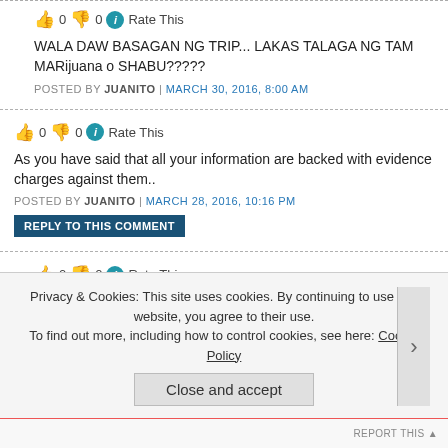👍 0 👎 0 ℹ Rate This
WALA DAW BASAGAN NG TRIP... LAKAS TALAGA NG TAM MARijuana o SHABU?????
POSTED BY JUANITO | MARCH 30, 2016, 8:00 AM
👍 0 👎 0 ℹ Rate This
As you have said that all your information are backed with evidence charges against them..
POSTED BY JUANITO | MARCH 28, 2016, 10:16 PM
REPLY TO THIS COMMENT
👍 0 👎 0 ℹ Rate This
Privacy & Cookies: This site uses cookies. By continuing to use this website, you agree to their use. To find out more, including how to control cookies, see here: Cookie Policy
Close and accept